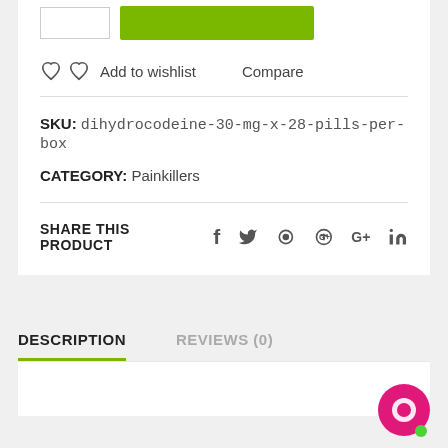Add to wishlist  Compare
SKU: dihydrocodeine-30-mg-x-28-pills-per-box
CATEGORY: Painkillers
SHARE THIS PRODUCT  f  twitter  pinterest  G+  in
DESCRIPTION
REVIEWS (0)